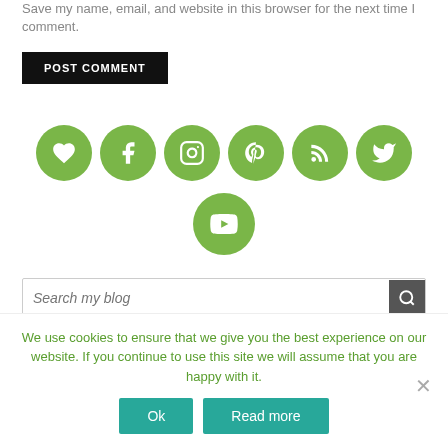Save my name, email, and website in this browser for the next time I comment.
POST COMMENT
[Figure (other): Social media icon buttons: heart/love, Facebook, Instagram, Pinterest, RSS feed, Twitter (top row), YouTube (second row) — all green circles with white icons]
Search my blog
We use cookies to ensure that we give you the best experience on our website. If you continue to use this site we will assume that you are happy with it.
Ok
Read more